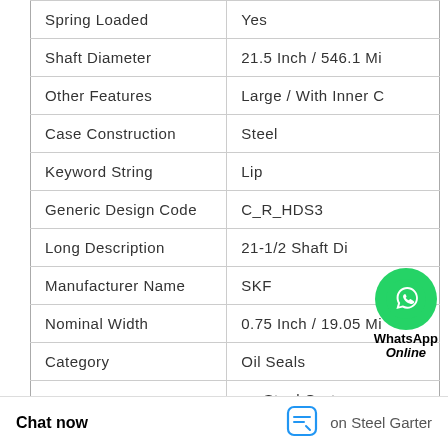| Property | Value |
| --- | --- |
| Spring Loaded | Yes |
| Shaft Diameter | 21.5 Inch / 546.1 Mi |
| Other Features | Large / With Inner C |
| Case Construction | Steel |
| Keyword String | Lip |
| Generic Design Code | C_R_HDS3 |
| Long Description | 21-1/2 Shaft Di |
| Manufacturer Name | SKF |
| Nominal Width | 0.75 Inch / 19.05 Mi |
| Category | Oil Seals |
|  | on Steel Garter |
[Figure (logo): WhatsApp contact button with green circle phone icon, label 'WhatsApp' and 'Online' in italic]
Chat now